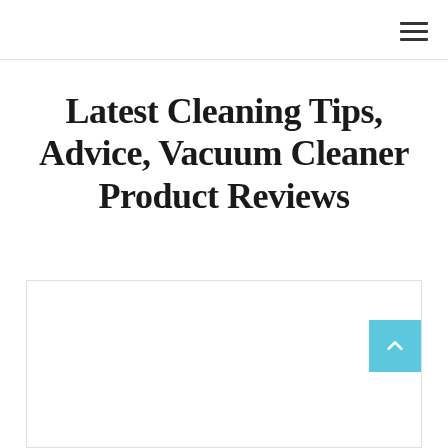Latest Cleaning Tips, Advice, Vacuum Cleaner Product Reviews
[Figure (other): White rectangular content/image placeholder box with light grey border, occupying the lower portion of the page. A light blue scroll-to-top button with a chevron/arrow icon is positioned at the right edge.]